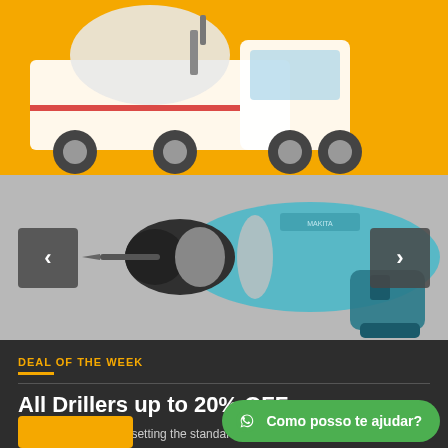[Figure (photo): Cement mixer truck on yellow background]
[Figure (photo): Carousel slider with a close-up of a teal/blue cordless electric drill; left and right navigation arrow buttons on gray background]
DEAL OF THE WEEK
All Drillers up to 20% OFF
BuildPress has been setting the standard for innovation and design of power tools since 1952. As the inventor of the first portable electric drill with pistol grip and trigger switch, we offer a broad line of quality power tools.
[Figure (other): Green WhatsApp chat button with text: Como posso te ajudar?]